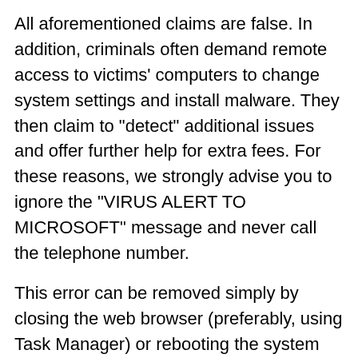All aforementioned claims are false. In addition, criminals often demand remote access to victims' computers to change system settings and install malware. They then claim to "detect" additional issues and offer further help for extra fees. For these reasons, we strongly advise you to ignore the "VIRUS ALERT TO MICROSOFT" message and never call the telephone number.
This error can be removed simply by closing the web browser (preferably, using Task Manager) or rebooting the system (some websites employ scripts that prevent users from closing the browser). After re-running the browser, never restore the previous session, otherwise you will return to the malicious site.
Potentially unwanted programs are known to deliver coupon, banner, pop-up, and other similar ads. To achieve this, developers employ various tools (e.g., "virtual layer") that enable placement of third party graphical content on any site. Therefore, displayed ads often conceal visited